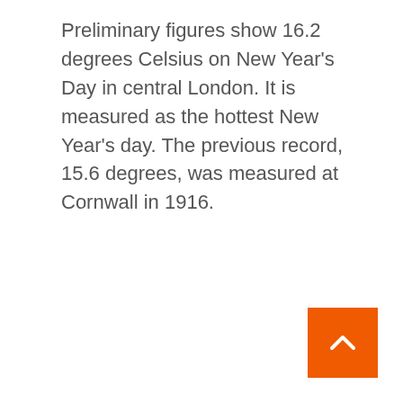Preliminary figures show 16.2 degrees Celsius on New Year's Day in central London. It is measured as the hottest New Year's day. The previous record, 15.6 degrees, was measured at Cornwall in 1916.